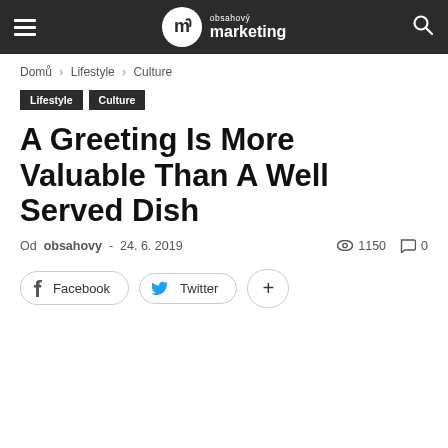obsahový marketing
Domů › Lifestyle › Culture
Lifestyle  Culture
A Greeting Is More Valuable Than A Well Served Dish
Od obsahovy - 24. 6. 2019  1150  0
Facebook  Twitter  +